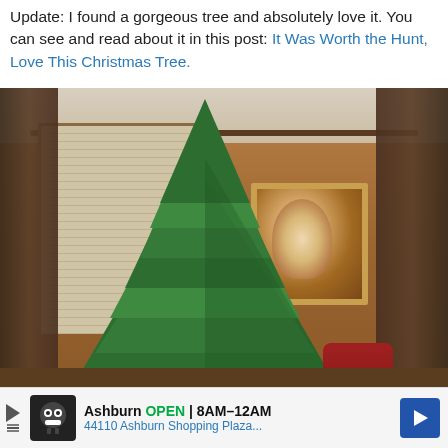Update: I found a gorgeous tree and absolutely love it. You can see and read about it in this post: It Was Worth the Hunt, Love This Christmas Tree.
[Figure (photo): A tall, full green Christmas tree (undecorated) standing in a wood-paneled living room with brown curtains, a window with blinds, a framed painting on the wall, and a red chair partially visible.]
Ashburn OPEN 8AM–12AM 44110 Ashburn Shopping Plaza...